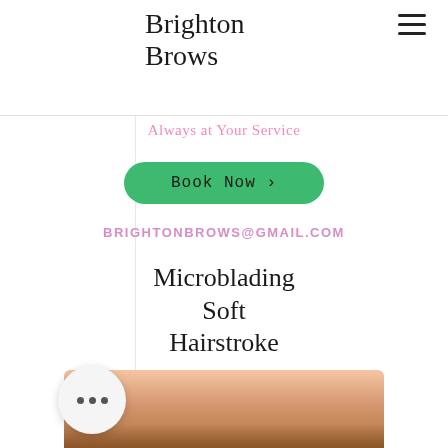Brighton Brows
Always at Your Service
Book Now >
BRIGHTONBROWS@GMAIL.COM
Microblading Soft Hairstroke
[Figure (photo): Close-up photo of a person's forehead and eyebrow area showing microblading/soft hairstroke brow treatment result]